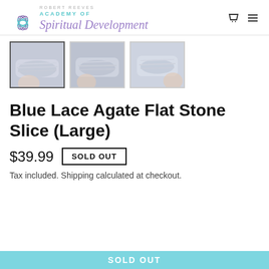Robert Reeves Academy of Spiritual Development
[Figure (photo): Three thumbnail photos of a Blue Lace Agate Flat Stone Slice held in a hand, showing banded blue and white crystal stone. First thumbnail is selected/highlighted.]
Blue Lace Agate Flat Stone Slice (Large)
$39.99  SOLD OUT
Tax included. Shipping calculated at checkout.
[Figure (other): Sold Out button bar at bottom of page in light blue/teal color]